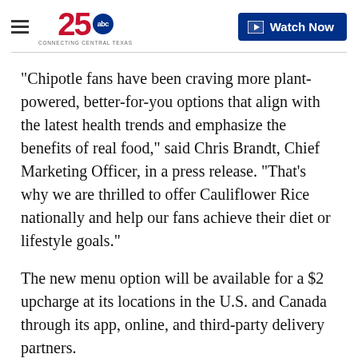25 abc CONNECTING CENTRAL TEXAS | Watch Now
"Chipotle fans have been craving more plant-powered, better-for-you options that align with the latest health trends and emphasize the benefits of real food," said Chris Brandt, Chief Marketing Officer, in a press release. "That's why we are thrilled to offer Cauliflower Rice nationally and help our fans achieve their diet or lifestyle goals."
The new menu option will be available for a $2 upcharge at its locations in the U.S. and Canada through its app, online, and third-party delivery partners.